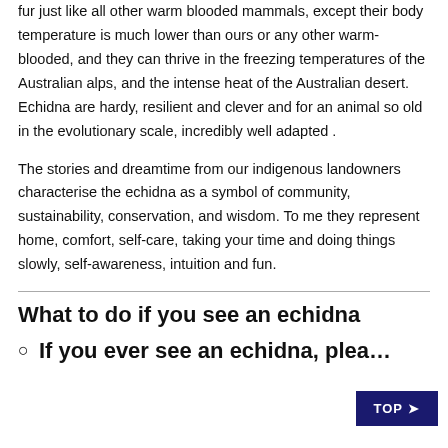fur just like all other warm blooded mammals, except their body temperature is much lower than ours or any other warm-blooded, and they can thrive in the freezing temperatures of the Australian alps, and the intense heat of the Australian desert. Echidna are hardy, resilient and clever and for an animal so old in the evolutionary scale, incredibly well adapted .
The stories and dreamtime from our indigenous landowners characterise the echidna as a symbol of community, sustainability, conservation, and wisdom. To me they represent home, comfort, self-care, taking your time and doing things slowly, self-awareness, intuition and fun.
What to do if you see an echidna
If you ever see an echidna, plea...